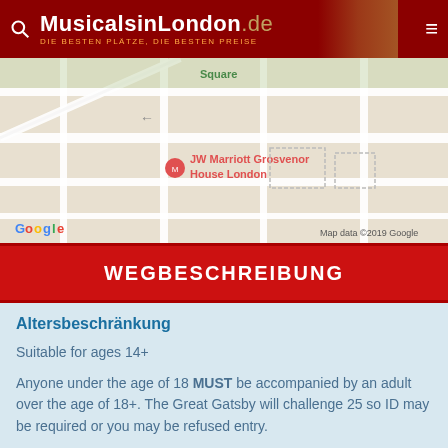MusicalsinLondon.de — DIE BESTEN PLÄTZE, DIE BESTEN PREISE
[Figure (map): Google Maps screenshot showing JW Marriott Grosvenor House London and Hakkasan Mayfair, with street grid visible. Map data ©2019 Google.]
WEGBESCHREIBUNG
Altersbeschränkung
Suitable for ages 14+
Anyone under the age of 18 MUST be accompanied by an adult over the age of 18+. The Great Gatsby will challenge 25 so ID may be required or you may be refused entry.
Wichtige Information
Suitable for ages 14+
Anyone under the age of 18 MUST be accompanied by an adult